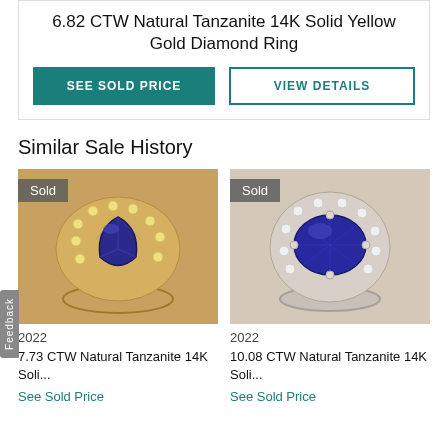6.82 CTW Natural Tanzanite 14K Solid Yellow Gold Diamond Ring
SEE SOLD PRICE | VIEW DETAILS
Similar Sale History
[Figure (photo): Tanzanite pear-shaped ring in yellow gold with diamond halo, 'Sold' badge overlay, year 2022]
2022
7.73 CTW Natural Tanzanite 14K Soli...
See Sold Price
[Figure (photo): Tanzanite oval ring in white gold with diamond halo, 'Sold' badge overlay, year 2022]
2022
10.08 CTW Natural Tanzanite 14K Soli...
See Sold Price